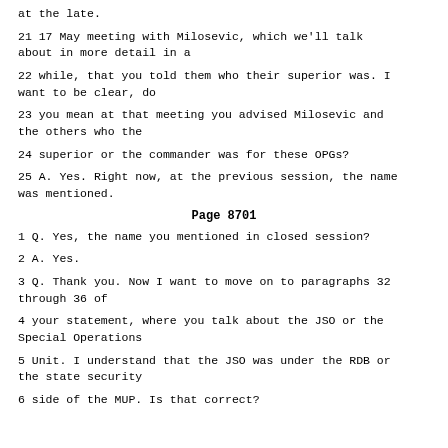at the late.
21 17 May meeting with Milosevic, which we'll talk about in more detail in a
22 while, that you told them who their superior was. I want to be clear, do
23 you mean at that meeting you advised Milosevic and the others who the
24 superior or the commander was for these OPGs?
25 A. Yes. Right now, at the previous session, the name was mentioned.
Page 8701
1 Q. Yes, the name you mentioned in closed session?
2 A. Yes.
3 Q. Thank you. Now I want to move on to paragraphs 32 through 36 of
4 your statement, where you talk about the JSO or the Special Operations
5 Unit. I understand that the JSO was under the RDB or the state security
6 side of the MUP. Is that correct?